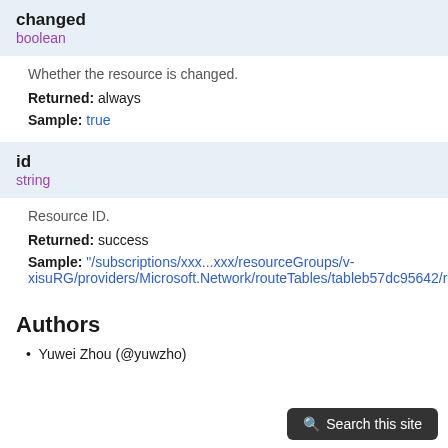changed
boolean
Whether the resource is changed.
Returned: always
Sample: true
id
string
Resource ID.
Returned: success
Sample: "/subscriptions/xxx...xxx/resourceGroups/v-xisuRG/providers/Microsoft.Network/routeTables/tableb57dc95642/routes/routeb57dc95986"
Authors
Yuwei Zhou (@yuwzho)